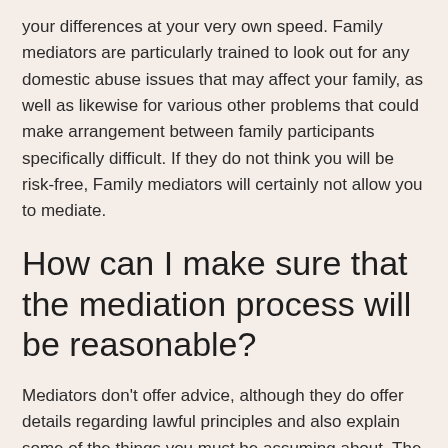your differences at your very own speed. Family mediators are particularly trained to look out for any domestic abuse issues that may affect your family, as well as likewise for various other problems that could make arrangement between family participants specifically difficult. If they do not think you will be risk-free, Family mediators will certainly not allow you to mediate.
How can I make sure that the mediation process will be reasonable?
Mediators don't offer advice, although they do offer details regarding lawful principles and also explain some of the things you must be assuming about. The mediator does not ever before make any decisions for you; you work out